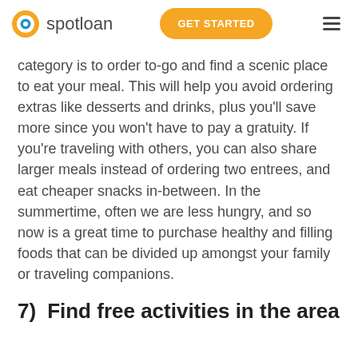spotloan | GET STARTED
category is to order to-go and find a scenic place to eat your meal. This will help you avoid ordering extras like desserts and drinks, plus you'll save more since you won't have to pay a gratuity. If you're traveling with others, you can also share larger meals instead of ordering two entrees, and eat cheaper snacks in-between. In the summertime, often we are less hungry, and so now is a great time to purchase healthy and filling foods that can be divided up amongst your family or traveling companions.
7)   Find free activities in the area